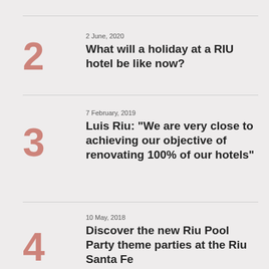2 June, 2020
What will a holiday at a RIU hotel be like now?
7 February, 2019
Luis Riu: “We are very close to achieving our objective of renovating 100% of our hotels”
10 May, 2018
Discover the new Riu Pool Party theme parties at the Riu Santa Fe